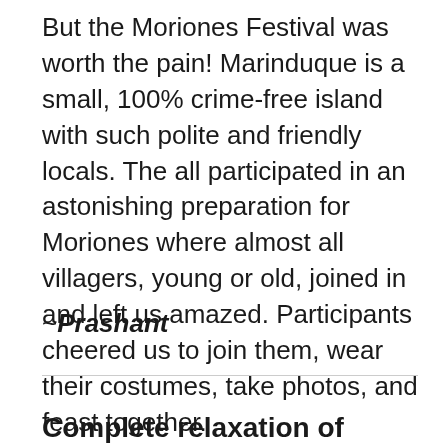But the Moriones Festival was worth the pain! Marinduque is a small, 100% crime-free island with such polite and friendly locals. The all participated in an astonishing preparation for Moriones where almost all villagers, young or old, joined in and left us amazed. Participants cheered us to join them, wear their costumes, take photos, and feast together.
~Prashant
Complete relaxation of body and